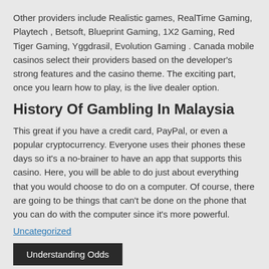Other providers include Realistic games, RealTime Gaming, Playtech , Betsoft, Blueprint Gaming, 1X2 Gaming, Red Tiger Gaming, Yggdrasil, Evolution Gaming . Canada mobile casinos select their providers based on the developer's strong features and the casino theme. The exciting part, once you learn how to play, is the live dealer option.
History Of Gambling In Malaysia
This great if you have a credit card, PayPal, or even a popular cryptocurrency. Everyone uses their phones these days so it's a no-brainer to have an app that supports this casino. Here, you will be able to do just about everything that you would choose to do on a computer. Of course, there are going to be things that can't be done on the phone that you can do with the computer since it's more powerful.
Uncategorized
Understanding Odds